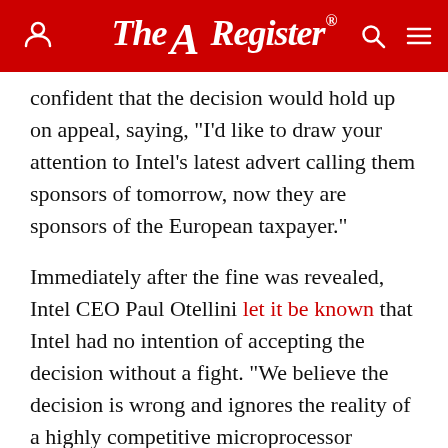The Register
confident that the decision would hold up on appeal, saying, "I'd like to draw your attention to Intel's latest advert calling them sponsors of tomorrow, now they are sponsors of the European taxpayer."
Immediately after the fine was revealed, Intel CEO Paul Otellini let it be known that Intel had no intention of accepting the decision without a fight. "We believe the decision is wrong and ignores the reality of a highly competitive microprocessor marketplace," he said. "There has been absolutely zero harm to consumers. Intel will appeal."